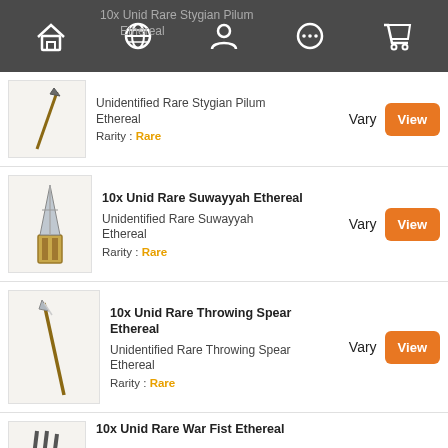10x Unid Rare Stygian Pilum Ethereal
Unidentified Rare Stygian Pilum Ethereal
Rarity: Rare
Price: Vary
10x Unid Rare Suwayyah Ethereal
Unidentified Rare Suwayyah Ethereal
Rarity: Rare
Price: Vary
10x Unid Rare Throwing Spear Ethereal
Unidentified Rare Throwing Spear Ethereal
Rarity: Rare
Price: Vary
10x Unid Rare War Fist Ethereal